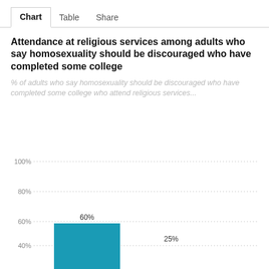Chart   Table   Share
Attendance at religious services among adults who say homosexuality should be discouraged who have completed some college
% of adults who say homosexuality should be discouraged who have completed some college who attend religious services...
[Figure (bar-chart): Attendance at religious services]